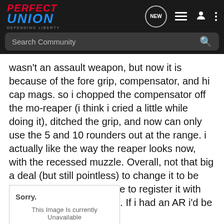Perfect Union - Defending Liberty - Search Community - Navigation icons: NEW, list, user, menu
wasn't an assault weapon, but now it is because of the fore grip, compensator, and hi cap mags. so i chopped the compensator off the mo-reaper (i think i cried a little while doing it), ditched the grip, and now can only use the 5 and 10 rounders out at the range. i actually like the way the reaper looks now, with the recessed muzzle. Overall, not that big a deal (but still pointless) to change it to be legal, and now i dont have to register it with the state every five years. If i had an AR i'd be screwed.
[Figure (other): Image placeholder box with text 'Sorry.' and 'This Image Is currently Unavailable']